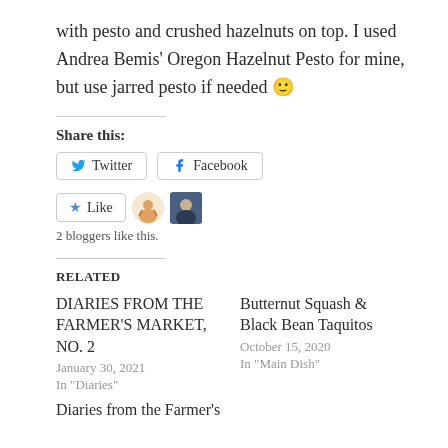with pesto and crushed hazelnuts on top. I used Andrea Bemis' Oregon Hazelnut Pesto for mine, but use jarred pesto if needed 🙂
Share this:
[Figure (other): Social share buttons: Twitter and Facebook]
[Figure (other): Like button with two blogger avatars. 2 bloggers like this.]
2 bloggers like this.
RELATED
DIARIES FROM THE FARMER'S MARKET, NO. 2
January 30, 2021
In "Diaries"
Butternut Squash & Black Bean Taquitos
October 15, 2020
In "Main Dish"
Diaries from the Farmer's